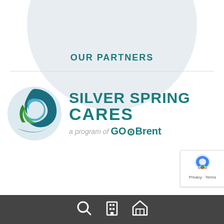[Figure (illustration): Light grey decorative circle shape in the top portion of the page]
OUR PARTNERS
[Figure (logo): Silver Spring Cares logo - circular S-shaped swirl in blue and green colors, with text SILVER SPRING CARES and tagline 'a program of GOBrent']
Footer bar with icons